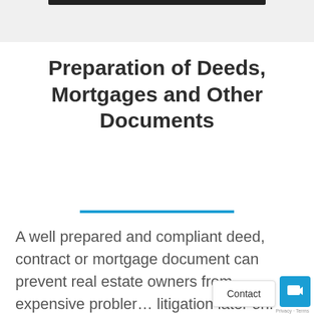[Figure (other): Top navigation bar with dark horizontal bar element on light gray background]
Preparation of Deeds, Mortgages and Other Documents
[Figure (other): Blue horizontal rule divider line]
A well prepared and compliant deed, contract or mortgage document can prevent real estate owners from expensive problems and litigation later on. Hiring a Document